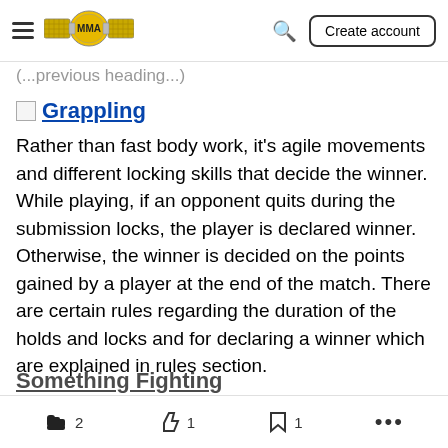MMA Wiki — hamburger menu, MMA belt logo, search icon, Create account button
Grappling
Rather than fast body work, it's agile movements and different locking skills that decide the winner. While playing, if an opponent quits during the submission locks, the player is declared winner. Otherwise, the winner is decided on the points gained by a player at the end of the match. There are certain rules regarding the duration of the holds and locks and for declaring a winner which are explained in rules section.
2  1  1  ...